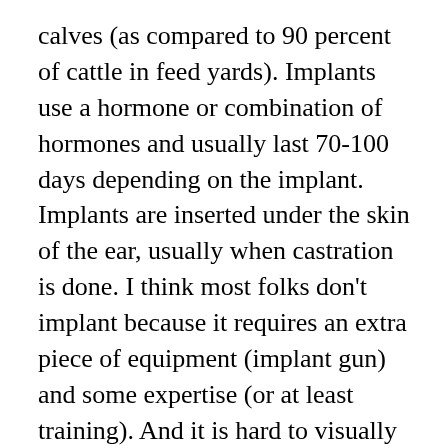calves (as compared to 90 percent of cattle in feed yards). Implants use a hormone or combination of hormones and usually last 70-100 days depending on the implant. Implants are inserted under the skin of the ear, usually when castration is done. I think most folks don't implant because it requires an extra piece of equipment (implant gun) and some expertise (or at least training). And it is hard to visually observe the average or 20 pounds or so increase.
The last step is to teach these calves to eat out of a bunk and drink out of a trough. Most calves are fresh weaned, often with a milk moustache, when sold, mostly at auction. If you plan on feeding your calves, or even if you don't, it pays to take a little time to bring these calves across...